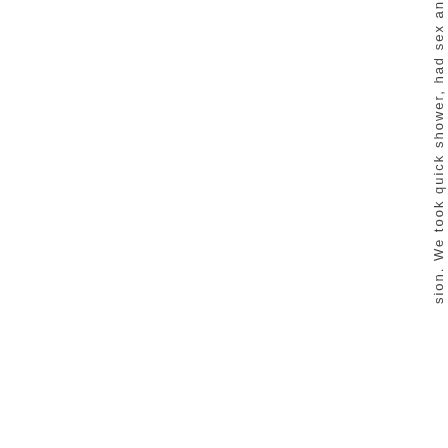sion. We took quick shower, had sex an